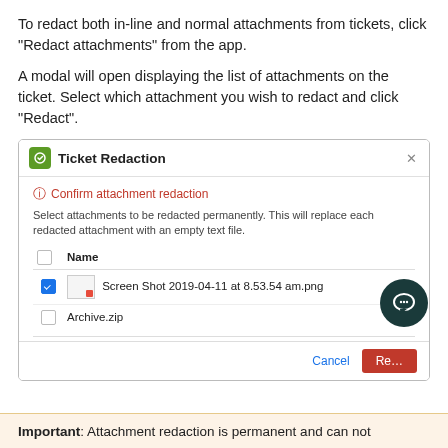To redact both in-line and normal attachments from tickets, click "Redact attachments" from the app.
A modal will open displaying the list of attachments on the ticket. Select which attachment you wish to redact and click "Redact".
[Figure (screenshot): Screenshot of a 'Ticket Redaction' modal dialog with a list of attachments. The modal header shows a green icon and the title 'Ticket Redaction' with an X close button. Inside, there is a red warning 'Confirm attachment redaction', descriptive text, and a table with two rows: a checked item 'Screen Shot 2019-04-11 at 8.53.54 am.png' and an unchecked 'Archive.zip'. The footer has a 'Cancel' link and a red 'Re...' (Redact) button. A dark teal chat bubble icon overlaps the bottom-right corner.]
Important: Attachment redaction is permanent and can not